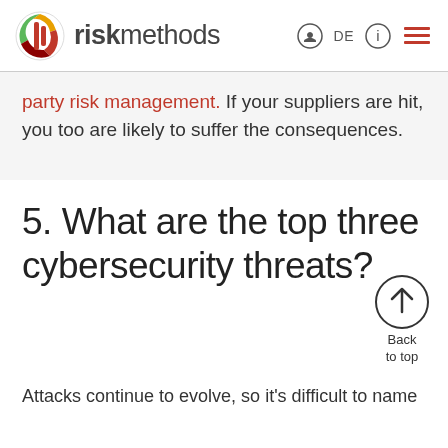riskmethods
party risk management. If your suppliers are hit, you too are likely to suffer the consequences.
5. What are the top three cybersecurity threats?
Attacks continue to evolve, so it's difficult to name